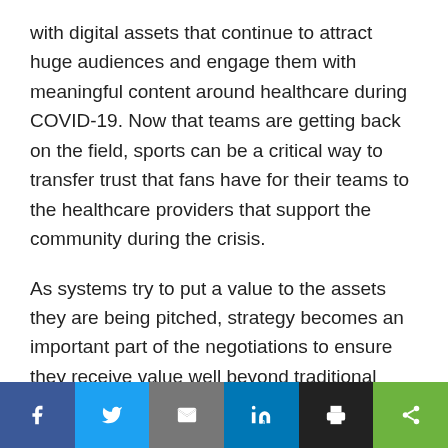with digital assets that continue to attract huge audiences and engage them with meaningful content around healthcare during COVID-19. Now that teams are getting back on the field, sports can be a critical way to transfer trust that fans have for their teams to the healthcare providers that support the community during the crisis.
As systems try to put a value to the assets they are being pitched, strategy becomes an important part of the negotiations to ensure they receive value well beyond traditional media value. Is your system telling stories beyond branding? In an environment of furloughs and patients' concerns about safety, there
Social share bar: Facebook, Twitter, Email, LinkedIn, Print, Share